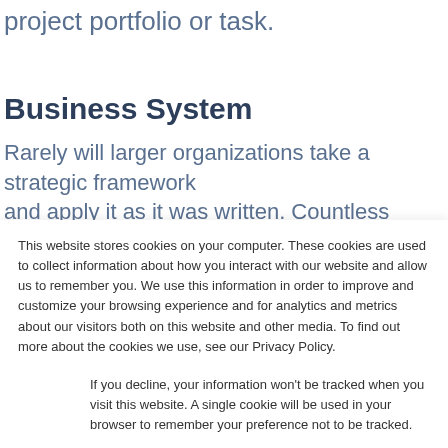project portfolio or task.
Business System
Rarely will larger organizations take a strategic framework and apply it as it was written. Countless examples exist
This website stores cookies on your computer. These cookies are used to collect information about how you interact with our website and allow us to remember you. We use this information in order to improve and customize your browsing experience and for analytics and metrics about our visitors both on this website and other media. To find out more about the cookies we use, see our Privacy Policy.
If you decline, your information won’t be tracked when you visit this website. A single cookie will be used in your browser to remember your preference not to be tracked.